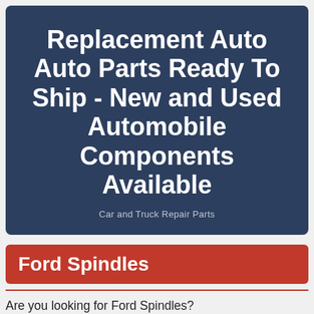Replacement Auto Auto Parts Ready To Ship - New and Used Automobile Components Available
Car and Truck Repair Parts
Ford Spindles
Are you looking for Ford Spindles?
One of the best kept secrets to finding the best deals on Ford